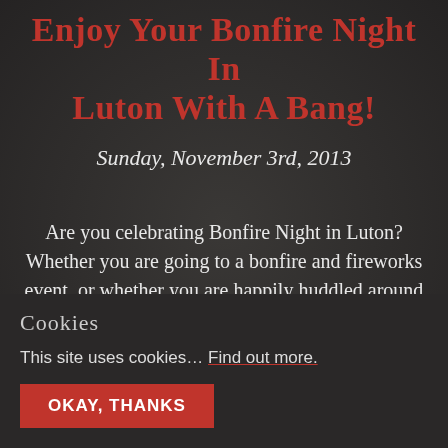Enjoy your Bonfire Night in Luton with a Bang!
Sunday, November 3rd, 2013
Are you celebrating Bonfire Night in Luton? Whether you are going to a bonfire and fireworks event, or whether you are happily huddled around a cosy bonfire at
Cookies
This site uses cookies… Find out more.
OKAY, THANKS